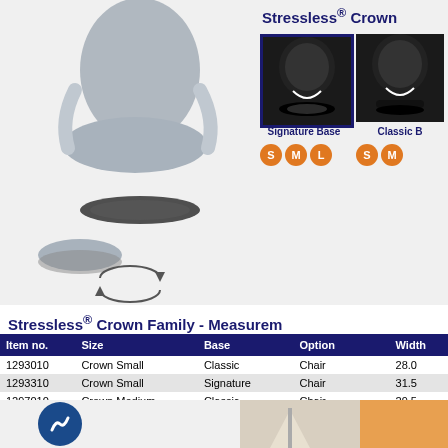[Figure (photo): Stressless Crown recliner chair with ottoman on signature base, shown in grey/silver]
Stressless® Crown
[Figure (photo): Signature Base variant of Stressless Crown chair]
[Figure (photo): Classic Base variant of Stressless Crown chair]
Signature Base
Classic B
S M L (Signature) S M (Classic)
Stressless® Crown Family - Measurements
| Item no. | Size | Base | Option | Width |
| --- | --- | --- | --- | --- |
| 1293010 | Crown Small | Classic | Chair | 28.0 |
| 1293310 | Crown Small | Signature | Chair | 31.5 |
| 1297010 | Crown Medium | Classic | Chair | 29.5 |
| 1297310 | Crown Medium | Signature | Chair | 33.1 |
| 1297715 | Crown Medium | LegComfort | Electric |  |
| 1297096 | Crown Office | Office | Office Chair | 29.5 |
| 1296010 | Crown Large | Classic | Chair | 33.1 |
| 1296310 | Crown Large | Signature | Chair | 36.6 |
| 1296715 | Crown Large | LegComfort | Electric |  |
| 1297000 | Crown Ottoman | Classic | Ottoman | 21.3 |
| 1297313 | Crown Ottoman | Signature | Ottoman | 21.3 |